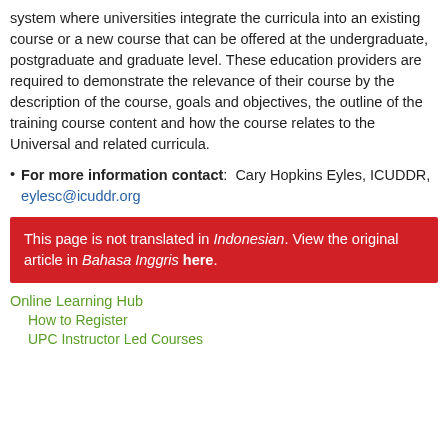system where universities integrate the curricula into an existing course or a new course that can be offered at the undergraduate, postgraduate and graduate level. These education providers are required to demonstrate the relevance of their course by the description of the course, goals and objectives, the outline of the training course content and how the course relates to the Universal and related curricula.
For more information contact: Cary Hopkins Eyles, ICUDDR, eylesc@icuddr.org
This page is not translated in Indonesian. View the original article in Bahasa Inggris here.
Online Learning Hub
How to Register
UPC Instructor Led Courses